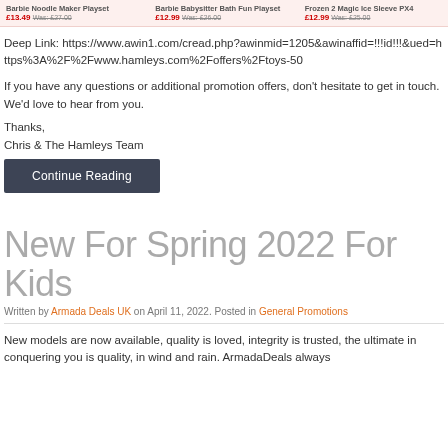Barbie Noodle Maker Playset | Barbie Babysitter Bath Fun Playset | Frozen 2 Magic Ice Sleeve PX4 | £13.49 Was: £27.00 | £12.99 Was: £26.00 | £12.99 Was: £25.00
Deep Link: https://www.awin1.com/cread.php?awinmid=1205&awinaffid=!!!id!!!&ued=https%3A%2F%2Fwww.hamleys.com%2Foffers%2Ftoys-50
If you have any questions or additional promotion offers, don't hesitate to get in touch. We'd love to hear from you.
Thanks,
Chris & The Hamleys Team
Continue Reading
New For Spring 2022 For Kids
Written by Armada Deals UK on April 11, 2022. Posted in General Promotions
New models are now available, quality is loved, integrity is trusted, the ultimate in conquering you is quality, in wind and rain. ArmadaDeals always